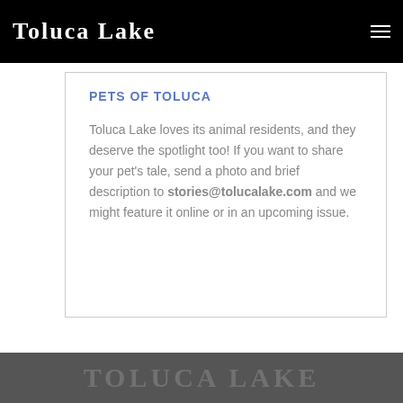Toluca Lake
PETS OF TOLUCA
Toluca Lake loves its animal residents, and they deserve the spotlight too! If you want to share your pet’s tale, send a photo and brief description to stories@tolucalake.com and we might feature it online or in an upcoming issue.
TOLUCA LAKE